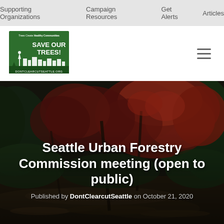Supporting Organizations  Campaign Resources  Get Alerts  Articles
[Figure (logo): DontClearcutSeattle.org logo — green square with Seattle skyline silhouette and text SAVE OUR TREES! Trees Create Healthy Communities]
[Figure (photo): Forest scene with red and green autumn leaves, dark moody forest path in background]
Seattle Urban Forestry Commission meeting (open to public)
Published by DontClearcutSeattle on October 21, 2020